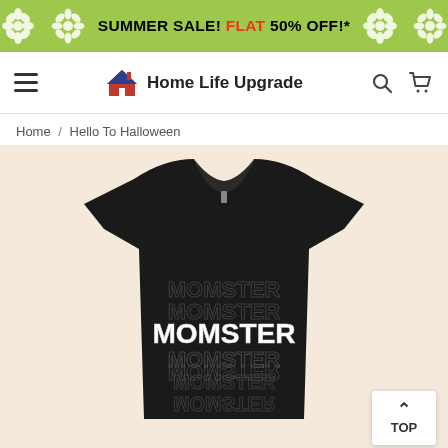SUMMER SALE! FLAT 50% OFF!*
[Figure (logo): Home Life Upgrade website navigation bar with hamburger menu, house logo, site name, search icon, and cart icon]
Home / Hello To Halloween
[Figure (photo): Black t-shirt on a cream/beige background with MOMSTER text printed multiple times in white with reflection effect]